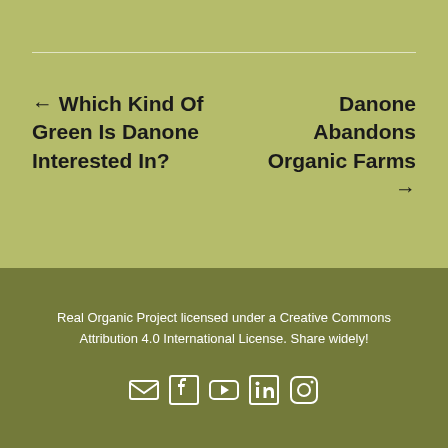← Which Kind Of Green Is Danone Interested In?
Danone Abandons Organic Farms →
Real Organic Project licensed under a Creative Commons Attribution 4.0 International License. Share widely!